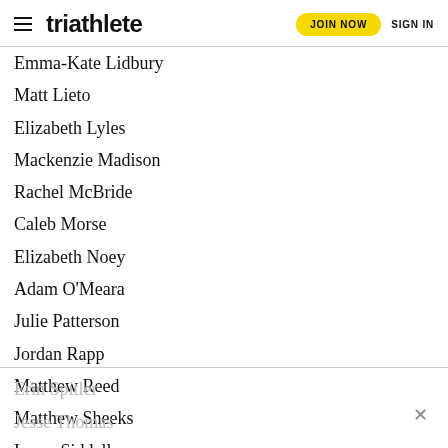triathlete | JOIN NOW | SIGN IN
Emma-Kate Lidbury
Matt Lieto
Elizabeth Lyles
Mackenzie Madison
Rachel McBride
Caleb Morse
Elizabeth Noey
Adam O'Meara
Julie Patterson
Jordan Rapp
Matthew Reed
Matthew Sheeks
Laura Siddall
Jessica Smith
Erin Spitler
Jesse Thomas